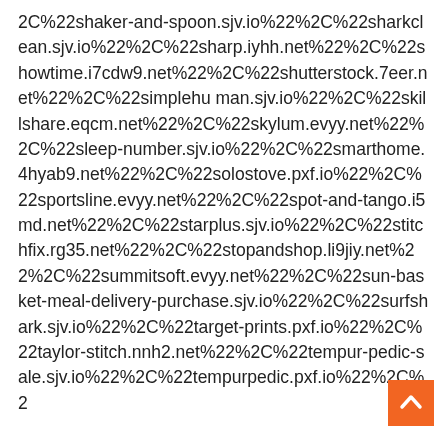2C%22shaker-and-spoon.sjv.io%22%2C%22sharkclean.sjv.io%22%2C%22sharp.iyhh.net%22%2C%22showtime.i7cdw9.net%22%2C%22shutterstock.7eer.net%22%2C%22simplehuman.sjv.io%22%2C%22skillshare.eqcm.net%22%2C%22skylum.evyy.net%22%2C%22sleep-number.sjv.io%22%2C%22smarthome.4hyab9.net%22%2C%22solostove.pxf.io%22%2C%22sportsline.evyy.net%22%2C%22spot-and-tango.i5md.net%22%2C%22starplus.sjv.io%22%2C%22stitchfix.rg35.net%22%2C%22stopandshop.li9jiy.net%22%2C%22summitsoft.evyy.net%22%2C%22sun-basket-meal-delivery-purchase.sjv.io%22%2C%22surfshark.sjv.io%22%2C%22target-prints.pxf.io%22%2C%22taylor-stitch.nnh2.net%22%2C%22tempur-pedic-sale.sjv.io%22%2C%22tempurpedic.pxf.io%22%2C%2
[Figure (other): Orange back-to-top button with white upward chevron arrow]